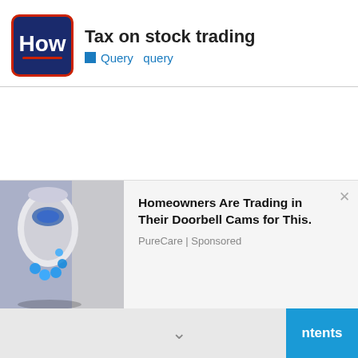Tax on stock trading
Query  query
[Figure (photo): Advertisement photo of a white smart doorbell/security camera device with blue LED lights]
Homeowners Are Trading in Their Doorbell Cams for This.
PureCare | Sponsored
ntents